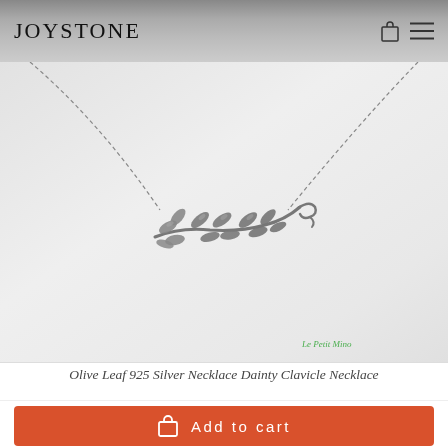JOYSTONE
[Figure (photo): Product photo of an olive leaf 925 silver necklace (dainty clavicle necklace) laid on a light grey background. The silver pendant is a branch with multiple leaf shapes. A watermark reads 'Le Petit Mino' in green italic text at bottom right.]
Olive Leaf 925 Silver Necklace Dainty Clavicle Necklace
Add to cart